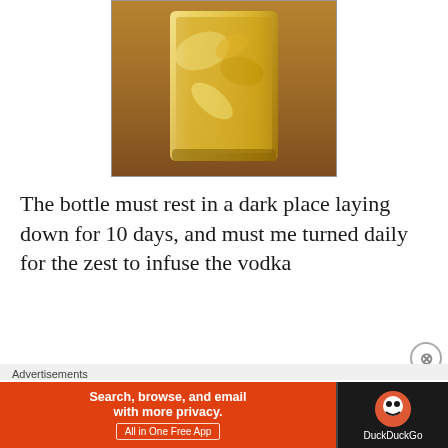[Figure (photo): A glass containing a yellow/golden liquid infusion with citrus zest, sitting on a wooden surface.]
The bottle must rest in a dark place laying down for 10 days, and must me turned daily for the zest to infuse the vodka
Advertisements
[Figure (screenshot): DuckDuckGo advertisement banner: 'Search, browse, and email with more privacy. All in One Free App' with DuckDuckGo logo on dark right panel.]